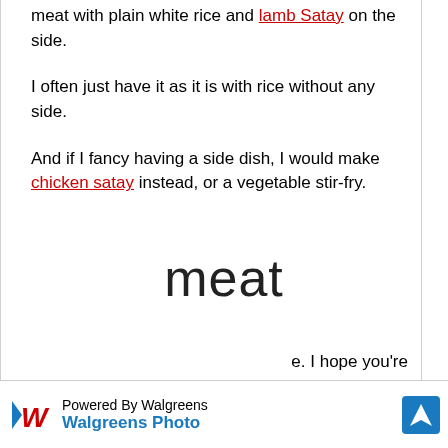meat with plain white rice and lamb Satay on the side.
I often just have it as it is with rice without any side.
And if I fancy having a side dish, I would make chicken satay instead, or a vegetable stir-fry.
meat
e. I hope you're
[Figure (other): Walgreens Photo advertisement banner at the bottom of the page with logo and navigation icon]